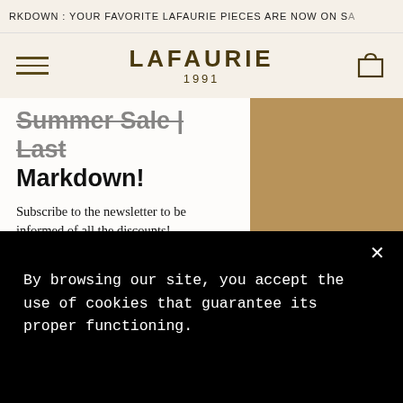RKDOWN : YOUR FAVORITE LAFAURIE PIECES ARE NOW ON SA
[Figure (logo): Lafaurie 1991 brand logo with hamburger menu and cart icon in a beige navigation bar]
Summer Sale | Last Markdown!
Subscribe to the newsletter to be informed of all the discounts!
YOUR E-MAIL
By browsing our site, you accept the use of cookies that guarantee its proper functioning.